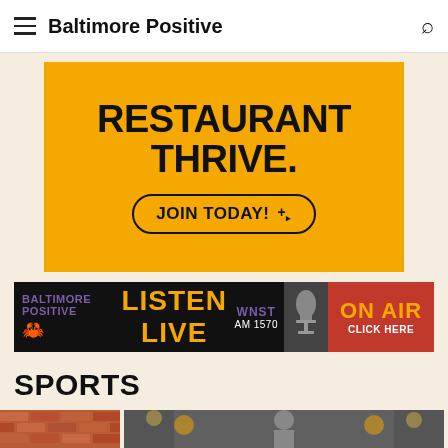Baltimore Positive
[Figure (infographic): Yellow advertisement banner with text 'RESTAURANT THRIVE.' and a 'JOIN TODAY!' button with cursor icon]
[Figure (infographic): Baltimore Positive Listen Live banner — dark background with orange LISTEN LIVE text, WNST AM 1570, microphone image, and red ON AIR CLICK HERE box]
SPORTS
[Figure (photo): Sports section images partially visible at page bottom — brick wall on left and person at podium on right]